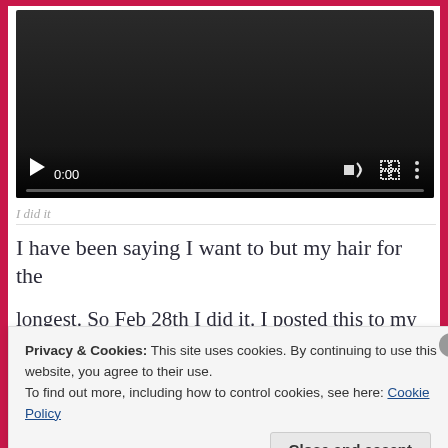[Figure (screenshot): Embedded video player with dark background, showing time 0:00, play button, volume icon, fullscreen icon, and options icon, with a progress bar at bottom]
I did it
I have been saying I want to but my hair for the
longest. So Feb 28th I did it. I posted this to my tiktok
Privacy & Cookies: This site uses cookies. By continuing to use this website, you agree to their use.
To find out more, including how to control cookies, see here: Cookie Policy
Close and accept